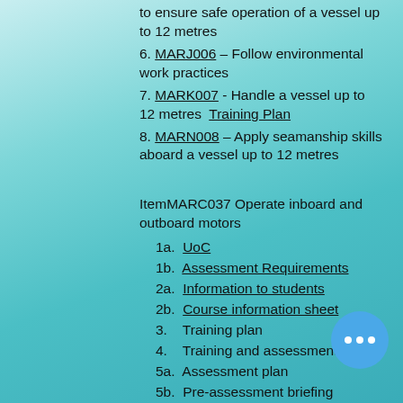to ensure safe operation of a vessel up to 12 metres
6. MARJ006 – Follow environmental work practices
7. MARK007 - Handle a vessel up to 12 metres  Training Plan
8. MARN008 – Apply seamanship skills aboard a vessel up to 12 metres
ItemMARC037 Operate inboard and outboard motors
1a.  UoC
1b.  Assessment Requirements
2a.  Information to students
2b.  Course information sheet
3.   Training plan
4.   Training and assessment str...
5a.  Assessment plan
5b.  Pre-assessment briefing